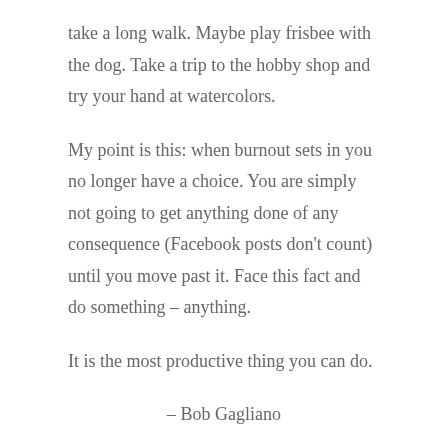take a long walk. Maybe play frisbee with the dog. Take a trip to the hobby shop and try your hand at watercolors.
My point is this: when burnout sets in you no longer have a choice. You are simply not going to get anything done of any consequence (Facebook posts don't count) until you move past it. Face this fact and do something – anything.
It is the most productive thing you can do.
– Bob Gagliano
Like This Post? Share it!